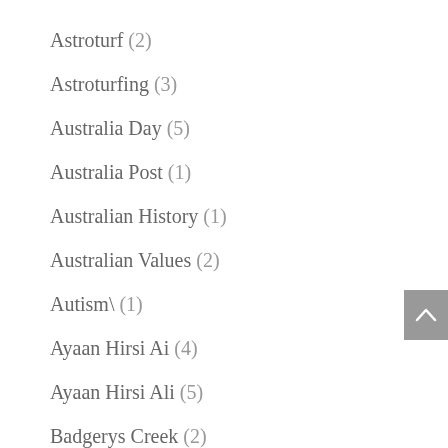Astroturf (2)
Astroturfing (3)
Australia Day (5)
Australia Post (1)
Australian History (1)
Australian Values (2)
Autism\ (1)
Ayaan Hirsi Ai (4)
Ayaan Hirsi Ali (5)
Badgerys Creek (2)
Ball tampering (1)
Ball waxing (1)